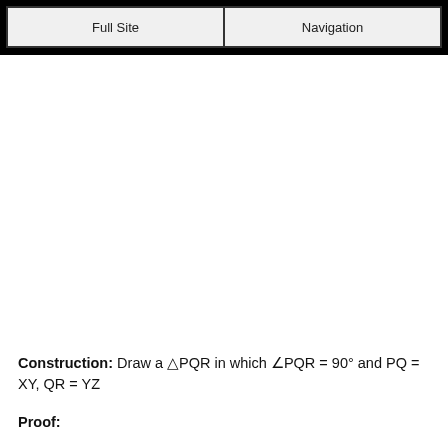Full Site | Navigation
Construction: Draw a △PQR in which ∠PQR = 90° and PQ = XY, QR = YZ
Proof: